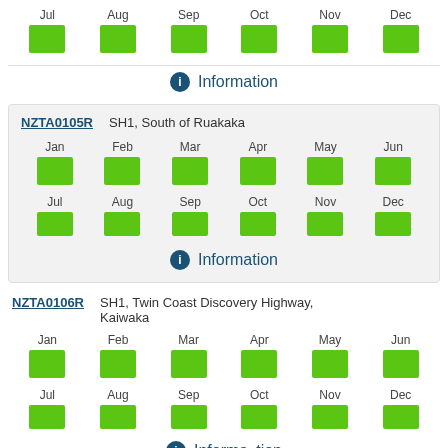[Figure (infographic): Month grid showing Jul-Dec with green status boxes (top section continuation)]
Information
NZTA0105R  SH1, South of Ruakaka
[Figure (infographic): Month grid Jan-Dec with green status boxes for NZTA0105R]
Information
NZTA0106R  SH1, Twin Coast Discovery Highway, Kaiwaka
[Figure (infographic): Month grid Jan-Dec with green status boxes for NZTA0106R]
Information